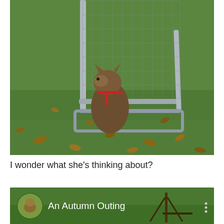[Figure (photo): A cat wearing a red harness sitting under a metal shopping cart on a green lawn scattered with fallen autumn leaves. The cart has a wire basket. The cat is viewed from behind with its head turned slightly.]
I wonder what she's thinking about?
[Figure (screenshot): A social media or video card with a circular avatar thumbnail (showing a cat outdoors), titled 'An Autumn Outing', set against a green lawn background with a tripod or stand visible on the right. Three vertical dots menu icon visible on the far right.]